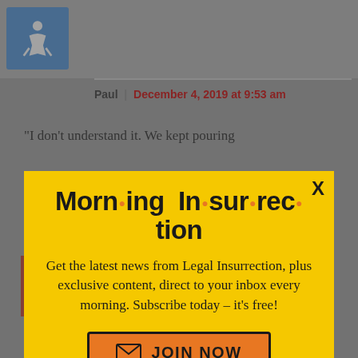[Figure (screenshot): Website comment section background showing accessibility icon, author byline 'Paul | December 4, 2019 at 9:53 am', partial quote text, and bottom ad banner]
[Figure (infographic): Modal popup with yellow background: 'Morning Insurrection' newsletter signup. Text: 'Get the latest news from Legal Insurrection, plus exclusive content, direct to your inbox every morning. Subscribe today – it's free!' with orange JOIN NOW button]
[Figure (screenshot): Small white close button (X) for a secondary overlay]
[Figure (screenshot): Bottom ad banner: PERSPECTIVE brand ad with 'SEE WHAT YOU'RE MISSING' tagline and READ MORE button]